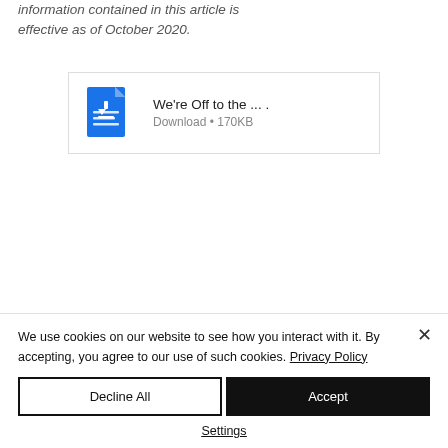information contained in this article is effective as of October 2020.
[Figure (screenshot): Download box showing a Google Docs-style blue file icon with the text 'We're Off to the ... .' and 'Download • 170KB' below it, inside a light bordered rectangle.]
We're Off to the ... .
Download • 170KB
We use cookies on our website to see how you interact with it. By accepting, you agree to our use of such cookies. Privacy Policy
Decline All
Accept
Settings